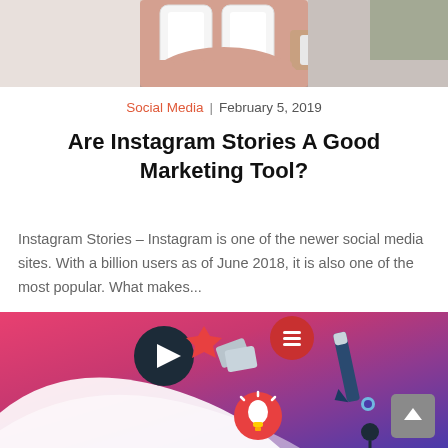[Figure (photo): Top portion of a photo showing a hand holding multiple smartphones, cropped to show only the bottom portion of the image]
Social Media | February 5, 2019
Are Instagram Stories A Good Marketing Tool?
Instagram Stories – Instagram is one of the newer social media sites. With a billion users as of June 2018, it is also one of the most popular. What makes...
[Figure (illustration): Instagram-themed illustration with pink-to-purple gradient background, white swoosh, dark circle with play button, red chat bubble with lines, lightbulb icon, pencil/pen icons, and other social media related decorative elements. A scroll-to-top button appears in the bottom right corner.]